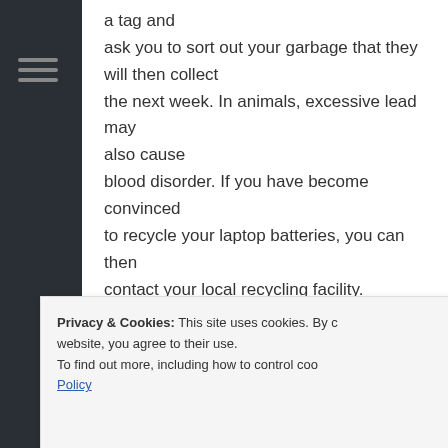a tag and ask you to sort out your garbage that they will then collect the next week. In animals, excessive lead may also cause blood disorder. If you have become convinced to recycle your laptop batteries, you can then contact your local recycling facility.
Reply
Privacy & Cookies: This site uses cookies. By continuing to use this website, you agree to their use. To find out more, including how to control cookies, see here: Cookie Policy
Close and accept